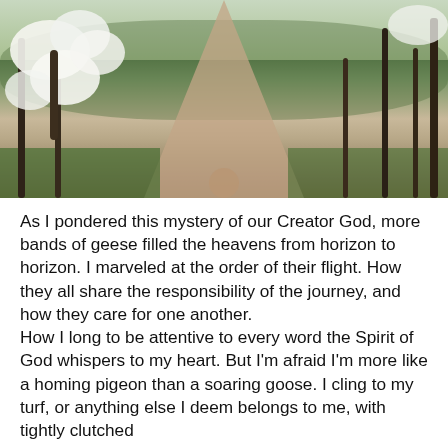[Figure (photo): A forest path or dirt trail winding into the distance, flanked by trees. On the left side is a flowering tree (likely dogwood) with white blossoms. The surrounding trees are bare or lightly leafed. Green grass lines the path edges.]
As I pondered this mystery of our Creator God, more bands of geese filled the heavens from horizon to horizon. I marveled at the order of their flight. How they all share the responsibility of the journey, and how they care for one another.
How I long to be attentive to every word the Spirit of God whispers to my heart. But I'm afraid I'm more like a homing pigeon than a soaring goose. I cling to my turf, or anything else I deem belongs to me, with tightly clutched